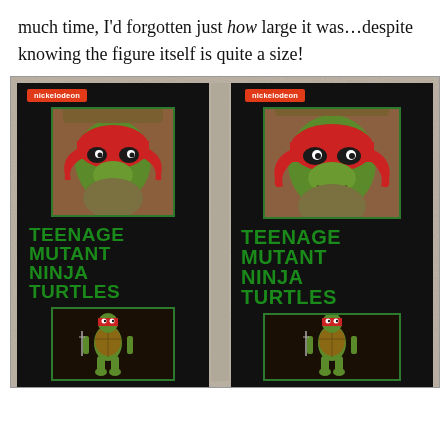much time, I'd forgotten just how large it was…despite knowing the figure itself is quite a size!
[Figure (photo): Two side-by-side Teenage Mutant Ninja Turtles (Raphael) action figure boxes with Nickelodeon branding. Each tall black box shows a close-up of Raphael's face at top, the TMNT logo text in green in the middle, and a small full-body figure at the bottom.]